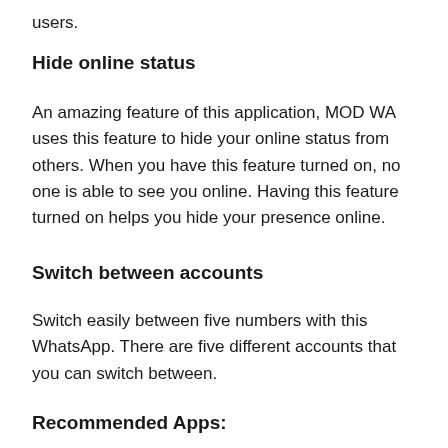users.
Hide online status
An amazing feature of this application, MOD WA uses this feature to hide your online status from others. When you have this feature turned on, no one is able to see you online. Having this feature turned on helps you hide your presence online.
Switch between accounts
Switch easily between five numbers with this WhatsApp. There are five different accounts that you can switch between.
Recommended Apps: